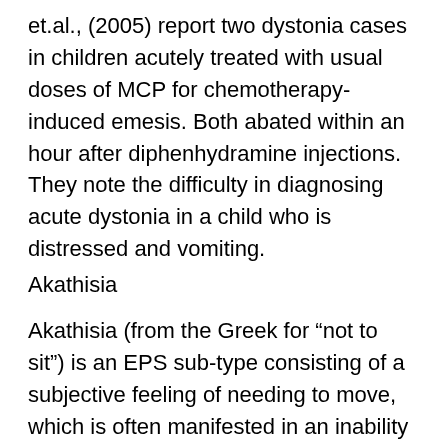et.al., (2005) report two dystonia cases in children acutely treated with usual doses of MCP for chemotherapy-induced emesis. Both abated within an hour after diphenhydramine injections. They note the difficulty in diagnosing acute dystonia in a child who is distressed and vomiting.
Akathisia
Akathisia (from the Greek for “not to sit”) is an EPS sub-type consisting of a subjective feeling of needing to move, which is often manifested in an inability to sit still. This is usually in addition to or followed by the objective motor signs of restlessness. It is frequently mistaken for the onset or an exacerbation of psychotic symptoms, anxiety and/or depression.
Neuroleptic-induced akathisia (NIA) is a common side